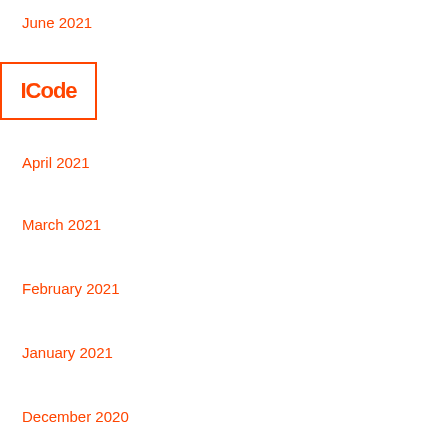[Figure (logo): ICode logo in orange with border box]
June 2021
May 2021
April 2021
March 2021
February 2021
January 2021
December 2020
November 2020
October 2020
September 2020
August 2020
July 2020
June 2020
May 2020
April 2020